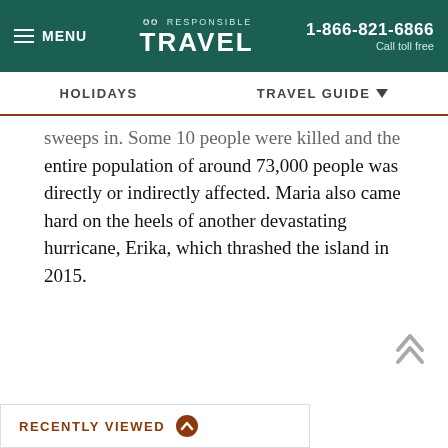MENU | RESPONSIBLE TRAVEL | 1-866-821-6866 Call toll free
HOLIDAYS | TRAVEL GUIDE
sweeps in. Some 10 people were killed and the entire population of around 73,000 people was directly or indirectly affected. Maria also came hard on the heels of another devastating hurricane, Erika, which thrashed the island in 2015.
RECENTLY VIEWED